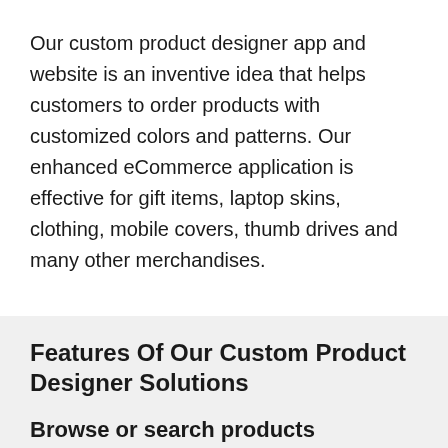Our custom product designer app and website is an inventive idea that helps customers to order products with customized colors and patterns. Our enhanced eCommerce application is effective for gift items, laptop skins, clothing, mobile covers, thumb drives and many other merchandises.
Features Of Our Custom Product Designer Solutions
Browse or search products
Users can browse product listings or search for their items and the customization will be done on such products.